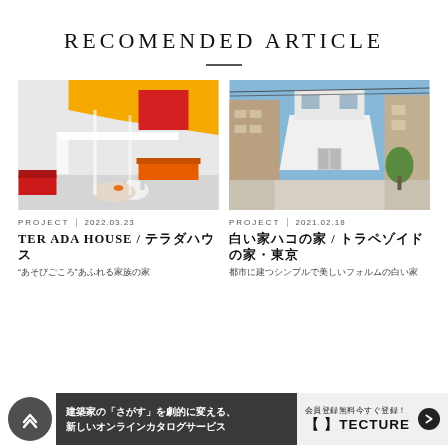RECOMENDED ARTICLE
[Figure (photo): Interior photo of a colorful modern house with orange furniture, yellow ceiling, loft level with stairs, and white walls]
PROJECT | 2022.03.23
TER ADA HOUSE / テラダハウス
"遊び心"あふれる家族の家
[Figure (photo): Exterior photo of a modern white angular house with horizontal siding, garage door, flanked by brown apartment buildings, blue sky]
PROJECT | 2021.02.18
白い家ハコの家 / トラペゾイドの家・東京
都市に建つシンプルで美しいフォルムの白い家
建築家の「さがす」を劇的に変える、新しいオンラインカタログサービス
会員登録無料今すぐ登録！【】TECTURE